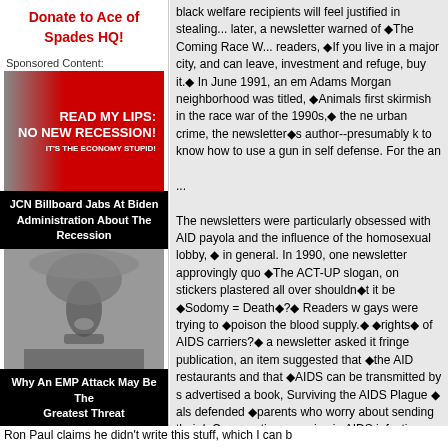Donate to Ace of Spades HQ!
Sponsored Content:
[Figure (photo): Ad image with Biden silhouette and red background reading READ MY LIPS: NO NEW RECESSION! IT'S THE ECONOMY STUPID!]
JCN Billboard Jabs At Biden Administration About The Recession
[Figure (photo): Nuclear explosion mushroom cloud black and white photo]
Why An EMP Attack May Be The Greatest Threat
black welfare recipients will feel justified in stealing... later, a newsletter warned of ◆The Coming Race W... readers, ◆If you live in a major city, and can leave, investment and refuge, buy it.◆ In June 1991, an em Adams Morgan neighborhood was titled, ◆Animals first skirmish in the race war of the 1990s,◆ the ne urban crime, the newsletter◆s author--presumably k to know how to use a gun in self defense. For the an
...
The newsletters were particularly obsessed with AID payola and the influence of the homosexual lobby, ◆ in general. In 1990, one newsletter approvingly quo ◆The ACT-UP slogan, on stickers plastered all over shouldn◆t it be ◆Sodomy = Death◆?◆ Readers w gays were trying to ◆poison the blood supply.◆ ◆rights◆ of AIDS carriers?◆ a newsletter asked it fringe publication, an item suggested that ◆the AID restaurants and that ◆AIDS can be transmitted by s advertised a book, Surviving the AIDS Plague ◆ als defended ◆parents who worry about sending their k Commenting on a rise in AIDS infections, one news obey the dictates of good sense,◆ adding: ◆[T]hes fifties. They are not married, they have no children, partners.◆ Also, ◆they enjoy the attention and pity
Ron Paul claims he didn't write this stuff, which I can b